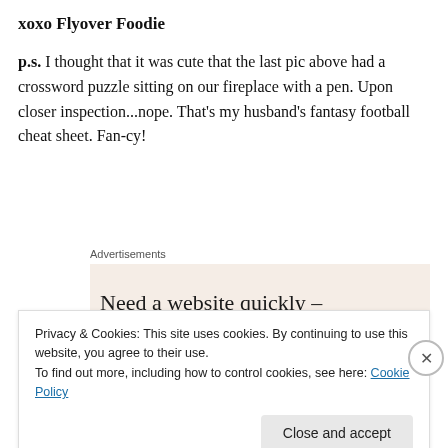xoxo Flyover Foodie
p.s. I thought that it was cute that the last pic above had a crossword puzzle sitting on our fireplace with a pen.  Upon closer inspection...nope.  That's my husband's fantasy football cheat sheet.  Fan-cy!
Advertisements
[Figure (other): Advertisement banner with beige/pink background showing text 'Need a website quickly –']
Privacy & Cookies: This site uses cookies. By continuing to use this website, you agree to their use.
To find out more, including how to control cookies, see here: Cookie Policy
Close and accept